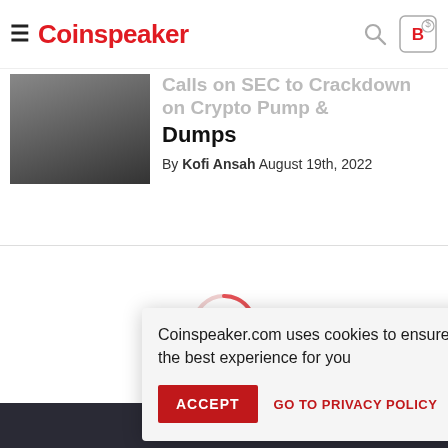Coinspeaker
Dumps
By Kofi Ansah August 19th, 2022
[Figure (screenshot): Loading spinner (circular red arc indicator) in the middle of the page]
Copyright © 2022 MD... Reproduction in whole... written permission of MD... Group FZ...LC is prohibited.
Coinspeaker.com uses cookies to ensure the best experience for you
ACCEPT   GO TO PRIVACY POLICY